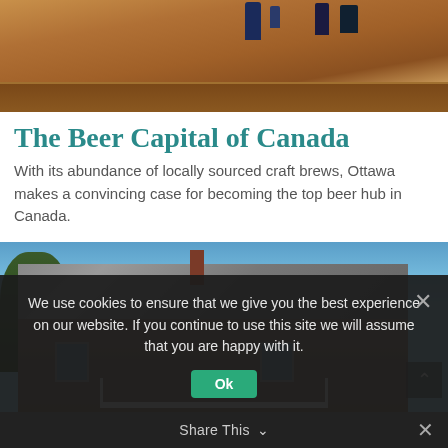[Figure (photo): Photo of a wooden table surface with bottles/containers in background]
The Beer Capital of Canada
With its abundance of locally sourced craft brews, Ottawa makes a convincing case for becoming the top beer hub in Canada.
[Figure (photo): Photo of a historic stone house/building with decorative roof, white porch railing, and blue sky in background]
We use cookies to ensure that we give you the best experience on our website. If you continue to use this site we will assume that you are happy with it.
Share This  ∨